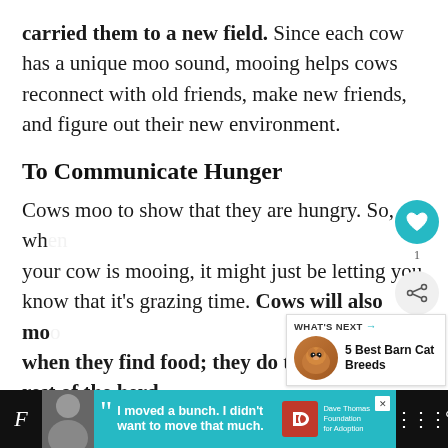carried them to a new field. Since each cow has a unique moo sound, mooing helps cows reconnect with old friends, make new friends, and figure out their new environment.
To Communicate Hunger
Cows moo to show that they are hungry. So, when your cow is mooing, it might just be letting you know that it's grazing time. Cows will also moo when they find food; they do this to alert the rest of the herd.
[Figure (other): Social media icons overlay: heart icon in teal circle, share icon in grey circle with count badge '1', and a 'What's Next' widget showing a cat image thumbnail with text '5 Best Barn Cat Breeds']
[Figure (other): Advertisement banner at the bottom showing a young man, teal background with quote 'I moved a bunch. I didn't want to move that much.' Dave Thomas Foundation for Adoption logo.]